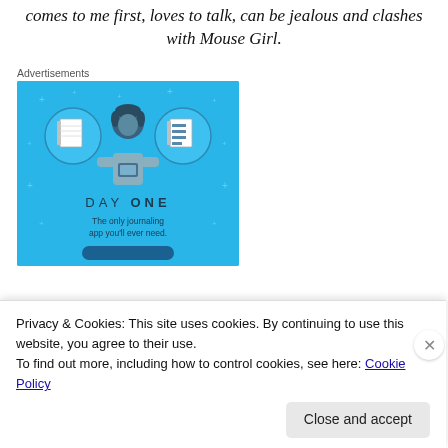comes to me first, loves to talk, can be jealous and clashes with Mouse Girl.
Advertisements
[Figure (illustration): Day One journaling app advertisement. Blue background with illustration of a person holding a phone, flanked by two circular icons showing notebook pages. Text reads 'DAY ONE – The only journaling app you'll ever need.']
Privacy & Cookies: This site uses cookies. By continuing to use this website, you agree to their use.
To find out more, including how to control cookies, see here: Cookie Policy